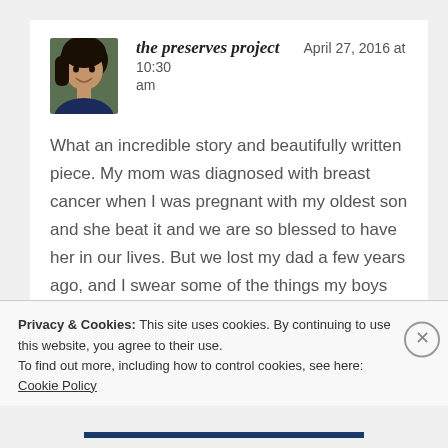[Figure (photo): Avatar photo of a woman with dark hair wearing a navy blue top, against a green background]
the preserves project
April 27, 2016 at 10:30 am
What an incredible story and beautifully written piece. My mom was diagnosed with breast cancer when I was pregnant with my oldest son and she beat it and we are so blessed to have her in our lives. But we lost my dad a few years ago, and I swear some of the things my boys do and say can only be coming straight from him! Losing a parent is so very difficult, but you are right when you say they are always near
Privacy & Cookies: This site uses cookies. By continuing to use this website, you agree to their use.
To find out more, including how to control cookies, see here: Cookie Policy
Close and accept